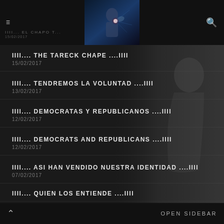IIII... EL CHAPO T...
IIII.... THE TARECK CHAPE ....IIII
IIII.... TENDREMOS LA VOLUNTAD ....IIII
IIII.... DEMOCRATAS Y REPUBLICANOS ....IIII
IIII.... DEMOCRATS AND REPUBLICANS ....IIII
IIII.... ASI HAN VENDIDO NUESTRA IDENTIDAD ....IIII
IIII.... QUIEN LOS ENTIENDE ....IIII
IIII.... CIA BLAZEFIRE ....IIII
OPEN SIDEBAR